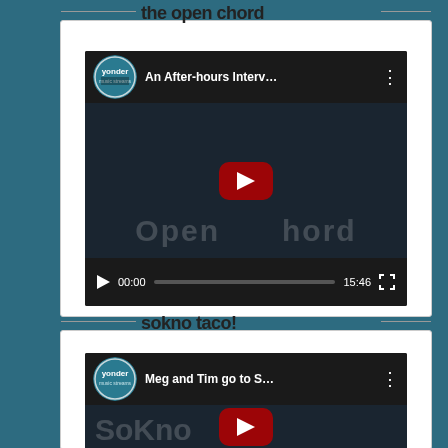the open chord
[Figure (screenshot): YouTube video embed titled 'An After-hours Interv...' with Yonder channel logo, showing video player with play button, progress bar showing 00:00 / 15:46, and fullscreen button. Background shows 'Open chord' text in dark overlay.]
sokno taco!
[Figure (screenshot): YouTube video embed titled 'Meg and Tim go to S...' with Yonder channel logo, partial view showing play button and 'SoKno' text in dark overlay background.]